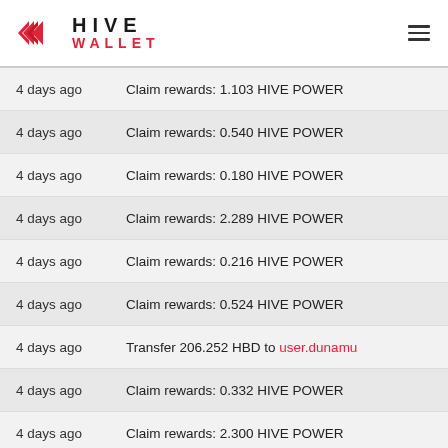HIVE WALLET
| Time | Transaction |
| --- | --- |
| 4 days ago | Claim rewards: 1.103 HIVE POWER |
| 4 days ago | Claim rewards: 0.540 HIVE POWER |
| 4 days ago | Claim rewards: 0.180 HIVE POWER |
| 4 days ago | Claim rewards: 2.289 HIVE POWER |
| 4 days ago | Claim rewards: 0.216 HIVE POWER |
| 4 days ago | Claim rewards: 0.524 HIVE POWER |
| 4 days ago | Transfer 206.252 HBD to user.dunamu |
| 4 days ago | Claim rewards: 0.332 HIVE POWER |
| 4 days ago | Claim rewards: 2.300 HIVE POWER |